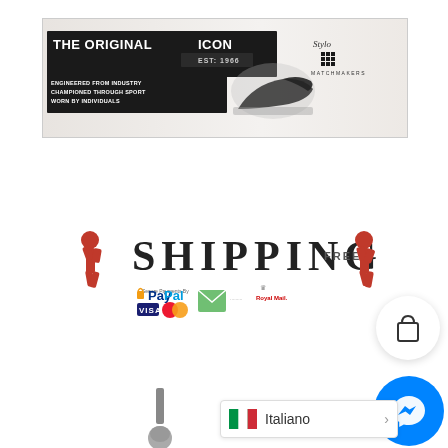[Figure (illustration): Matchmakers shoe brand banner ad. Black background text block with 'THE ORIGINAL ICON' in large bold white letters, 'EST: 1966' below. Left side text: 'ENGINEERED FROM INDUSTRY / CHAMPIONED THROUGH SPORT / WORN BY INDIVIDUALS'. Center image of black leather dress shoes. Top right: Stylo Matchmakers logo with M grid logo and 'MATCHMAKERS' text.]
[Figure (infographic): Free shipping promotional banner with large 'SHIPPING' text flanked by red footballer figures. 'FREE' label top right. Payment logos: PayPal (Secure Payments By), VISA, Mastercard, a mail icon, and Royal Mail logo.]
[Figure (illustration): Shopping bag / cart icon in a white circle with shadow.]
[Figure (illustration): Facebook Messenger icon (lightning bolt / chat icon) in blue circle.]
[Figure (illustration): Makeup brush or shoe-brush bottom center-left of page.]
Italiano